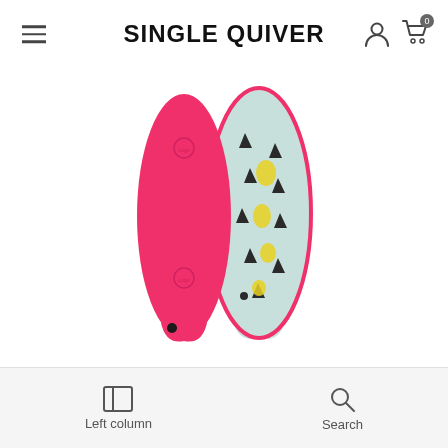SINGLE QUIVER
[Figure (photo): Two surfboards displayed side by side — one hot pink foam surfboard (front) and one light blue/mint patterned surfboard (back) with black triangle and yellow geometric shapes printed on it. Both boards have a fish/twin-tail shape and are leaned against each other.]
Left column  Search